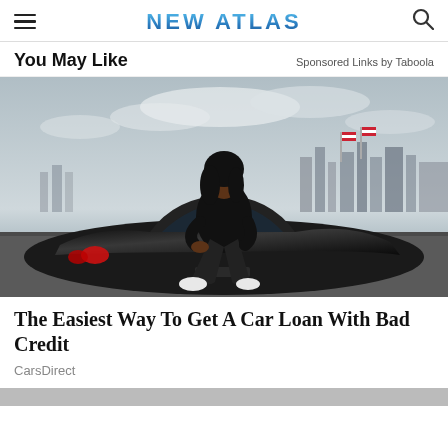NEW ATLAS
You May Like
Sponsored Links by Taboola
[Figure (photo): A young Black woman in all-black clothing sitting on the hood/roof of a black sports car (appears to be a Corvette) in a parking lot with a city skyline and American flags in the background. The sky is overcast with clouds.]
The Easiest Way To Get A Car Loan With Bad Credit
CarsDirect